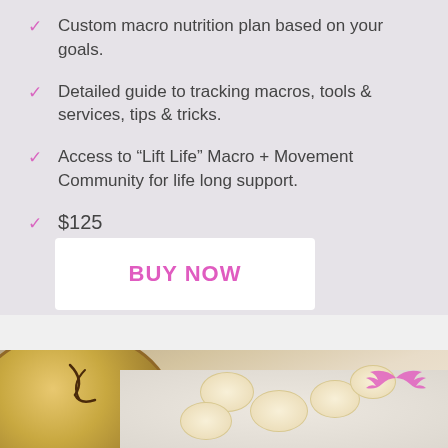Custom macro nutrition plan based on your goals.
Detailed guide to tracking macros, tools & services, tips & tricks.
Access to “Lift Life” Macro + Movement Community for life long support.
$125
BUY NOW
[Figure (photo): Photo of a food bowl with banana slices and oats, with a pink angel wings logo in the upper right corner.]